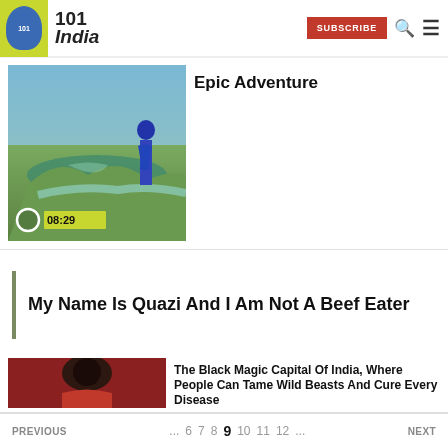101 India — SUBSCRIBE
[Figure (photo): Landscape photo with river/valley and person standing, video thumbnail with 08:29 timer]
Epic Adventure
My Name Is Quazi And I Am Not A Beef Eater
TRAVEL & FOOD
[Figure (photo): Man with dreadlocks holding a skull, associated with black magic/tribal practices]
The Black Magic Capital Of India, Where People Can Tame Wild Beasts And Cure Every Disease
PREVIOUS ... 6 7 8 9 10 11 12 ... NEXT